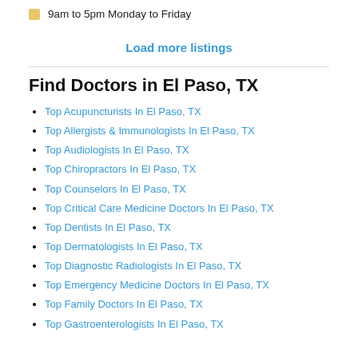9am to 5pm Monday to Friday
Load more listings
Find Doctors in El Paso, TX
Top Acupuncturists In El Paso, TX
Top Allergists & Immunologists In El Paso, TX
Top Audiologists In El Paso, TX
Top Chiropractors In El Paso, TX
Top Counselors In El Paso, TX
Top Critical Care Medicine Doctors In El Paso, TX
Top Dentists In El Paso, TX
Top Dermatologists In El Paso, TX
Top Diagnostic Radiologists In El Paso, TX
Top Emergency Medicine Doctors In El Paso, TX
Top Family Doctors In El Paso, TX
Top Gastroenterologists In El Paso, TX